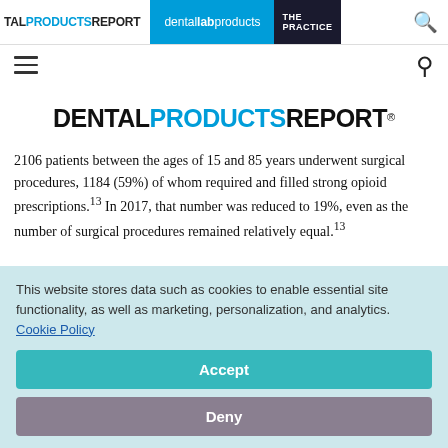DENTAL PRODUCTS REPORT | dental lab products | THE PRACTICE
[Figure (logo): Dental Products Report logo with hamburger menu icon and search icon]
DENTAL PRODUCTS REPORT
2106 patients between the ages of 15 and 85 years underwent surgical procedures, 1184 (59%) of whom required and filled strong opioid prescriptions.[13] In 2017, that number was reduced to 19%, even as the number of surgical procedures remained relatively equal.[13]
This website stores data such as cookies to enable essential site functionality, as well as marketing, personalization, and analytics. Cookie Policy
Accept
Deny